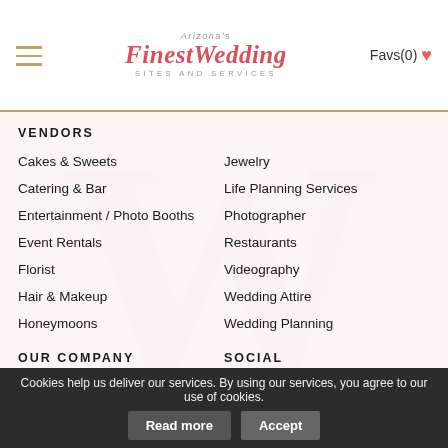Arizona's Finest Wedding Sites and Services — Favs(0)
VENDORS
Cakes & Sweets
Jewelry
Catering & Bar
Life Planning Services
Entertainment / Photo Booths
Photographer
Event Rentals
Restaurants
Florist
Videography
Hair & Makeup
Wedding Attire
Honeymoons
Wedding Planning
OUR COMPANY
SOCIAL
Meet The Team
Facebook
Advertising
Twitter
Cookies help us deliver our services. By using our services, you agree to our use of cookies. Read more Accept